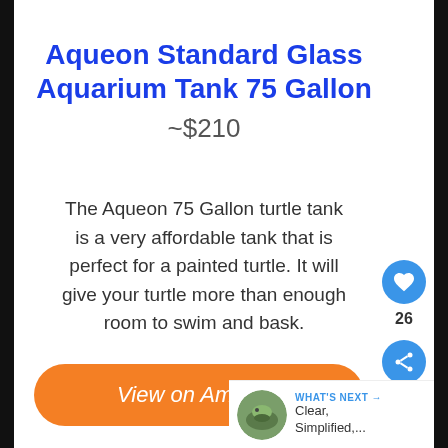Aqueon Standard Glass Aquarium Tank 75 Gallon
~$210
The Aqueon 75 Gallon turtle tank is a very affordable tank that is perfect for a painted turtle. It will give your turtle more than enough room to swim and bask.
View on Amazon